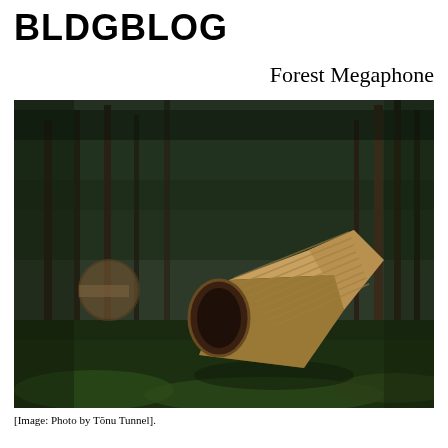BLDGBLOG
Forest Megaphone
[Figure (photo): Large wooden megaphone structure lying on its side in a dark green forest. The megaphone is constructed from wooden planks arranged in a polygonal/faceted horn shape. The opening faces right-center of the image. In the background to the left, another similar wooden structure is partially visible. The forest floor is covered with moss and the trees are tall conifers.]
[Image: Photo by Tõnu Tunnel].